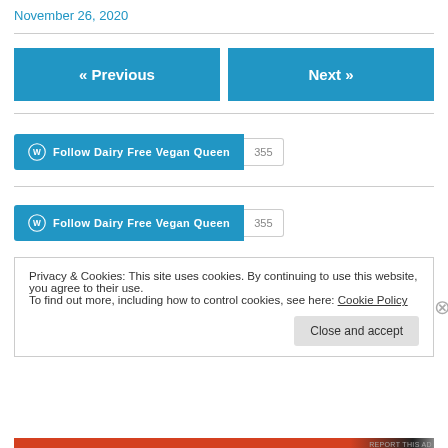November 26, 2020
« Previous
Next »
[Figure (other): Follow Dairy Free Vegan Queen WordPress follow button with count 355]
[Figure (other): Follow Dairy Free Vegan Queen WordPress follow button with count 355 (second instance)]
Privacy & Cookies: This site uses cookies. By continuing to use this website, you agree to their use.
To find out more, including how to control cookies, see here: Cookie Policy
Close and accept